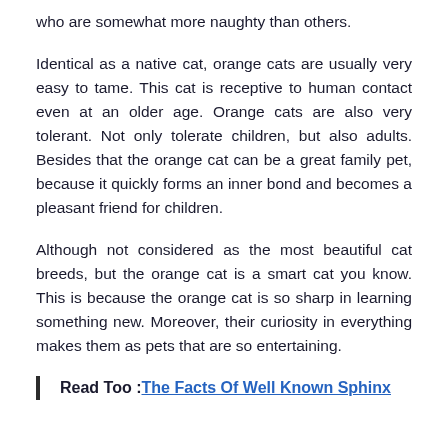who are somewhat more naughty than others.
Identical as a native cat, orange cats are usually very easy to tame. This cat is receptive to human contact even at an older age. Orange cats are also very tolerant. Not only tolerate children, but also adults. Besides that the orange cat can be a great family pet, because it quickly forms an inner bond and becomes a pleasant friend for children.
Although not considered as the most beautiful cat breeds, but the orange cat is a smart cat you know. This is because the orange cat is so sharp in learning something new. Moreover, their curiosity in everything makes them as pets that are so entertaining.
Read Too :The Facts Of Well Known Sphinx